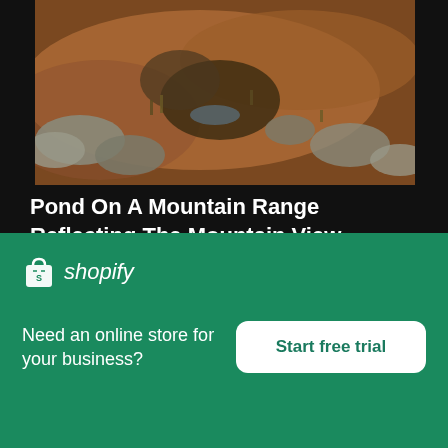[Figure (photo): Mountain range landscape with rocks, moss, and earthy terrain - top portion of photo showing rocky alpine ground]
Pond On A Mountain Range Reflecting The Mountain View
High resolution download ↓
[Figure (photo): Partial view of another photo below - teal/green gradient mountain or water scene, partially visible]
[Figure (logo): Shopify logo - shopping bag icon with 'shopify' italic text in white on green background]
Need an online store for your business?
Start free trial